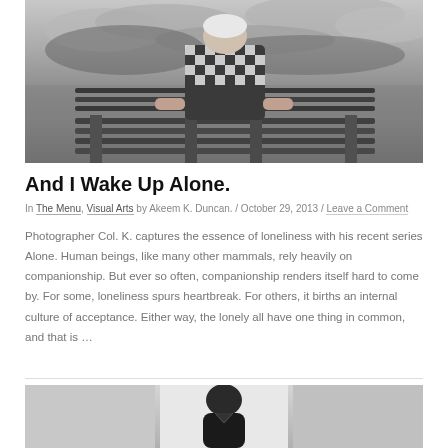[Figure (photo): Black and white photo of a person seen from behind, sitting on a park bench wearing a checkered shirt, with a cloudy stormy sky in the background]
And I Wake Up Alone.
In The Menu, Visual Arts by Akeem K. Duncan. / October 29, 2013 / Leave a Comment
Photographer Col. K. captures the essence of loneliness with his recent series Alone. Human beings, like many other mammals, rely heavily on companionship. But ever so often, companionship renders itself hard to come by. For some, loneliness spurs heartbreak. For others, it births an internal culture of acceptance. Either way, the lonely all have one thing in common, and that is ...
[Figure (photo): Black and white photo of a person standing or sitting, partially visible at the bottom of the page]